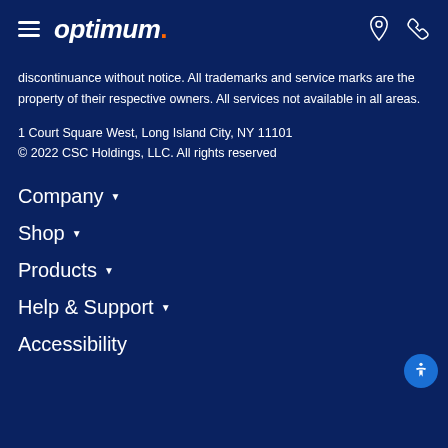optimum.
discontinuance without notice. All trademarks and service marks are the property of their respective owners. All services not available in all areas.
1 Court Square West, Long Island City, NY 11101
© 2022 CSC Holdings, LLC. All rights reserved
Company ▼
Shop ▼
Products ▼
Help & Support ▼
Accessibility